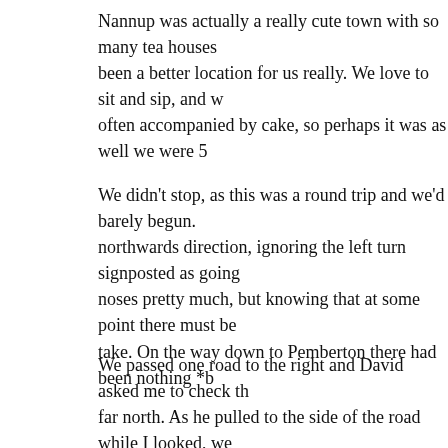Nannup was actually a really cute town with so many tea houses been a better location for us really. We love to sit and sip, and w often accompanied by cake, so perhaps it was as well we were 5
We didn't stop, as this was a round trip and we'd barely begun. northwards direction, ignoring the left turn signposted as going noses pretty much, but knowing that at some point there must be take. On the way down to Pemberton there had been nothing *b
We passed one road to the right and David asked me to check th far north. As he pulled to the side of the road while I looked, we of an old, deserted school house. It was open for us to go in and with broken window glass all over the floors. There was the one which looked as if it had perhaps been a kitchen. There was a st half side walls and a roof that looked rather like a giant bus shel positive would be full of red backs. As we walked out of the sch there was probably asbestos on-site and any works should be ap being carried out. I wouldn't have gone in there if I'd seen that inside! All it said on the outside was 'please shut the door firml